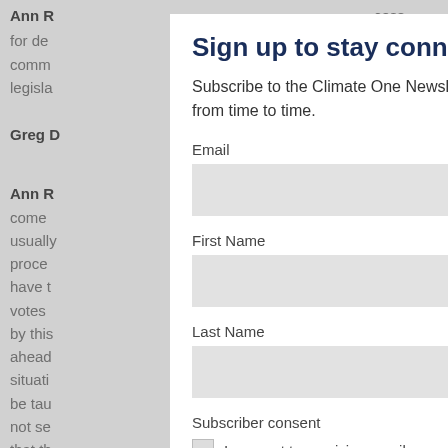Ann R… for de… comm… legisla…
Greg D…
Ann R… have come… hat is usually… of the proce… d there have t… ose votes … loped by this… go ahead… en situati… nge to be tau… ce is not se… you that th…
Sign up to stay connected
Subscribe to the Climate One Newsletter for weekly digests and maybe even a special treat from time to time.
Email
First Name
Last Name
Subscriber consent
I consent to receiving email communications.